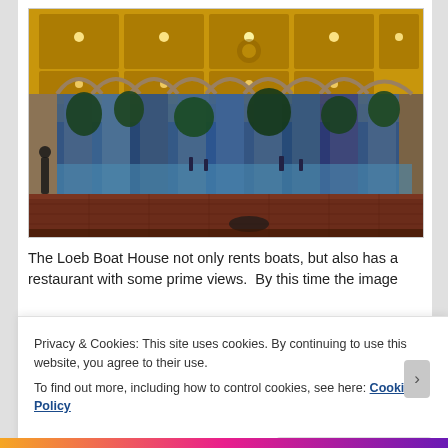[Figure (photo): Interior of Bethesda Terrace arcade in Central Park at dusk. Ornate golden ceiling with recessed panels and lights, stone arched columns, and blue twilight view of the park beyond. People visible in the distance.]
The Loeb Boat House not only rents boats, but also has a restaurant with some prime views.  By this time the image
Privacy & Cookies: This site uses cookies. By continuing to use this website, you agree to their use.
To find out more, including how to control cookies, see here: Cookie Policy
Close and accept